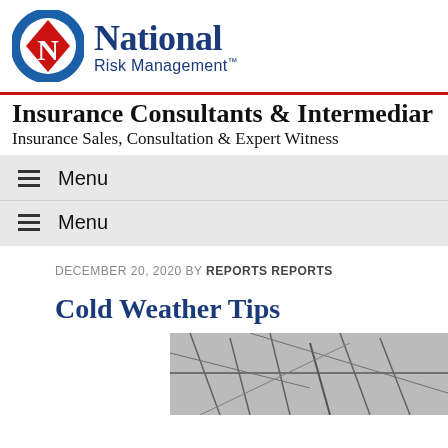[Figure (logo): National Risk Management logo: blue circle with a red diamond containing a white 'N', next to 'National' in blue serif and 'Risk Management™' in blue sans-serif]
Insurance Consultants & Intermediar
Insurance Sales, Consultation & Expert Witness
≡  Menu
≡  Menu
DECEMBER 20, 2020 BY REPORTS REPORTS
Cold Weather Tips
[Figure (photo): Black and white photo of frozen or frost-covered branches/vines]